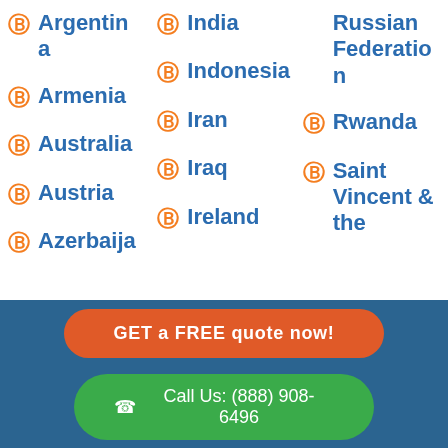Argentina
Armenia
Australia
Austria
Azerbaija
India
Indonesia
Iran
Iraq
Ireland
Russian Federation
Rwanda
Saint Vincent & the
GET a FREE quote now!
Call Us: (888) 908-6496